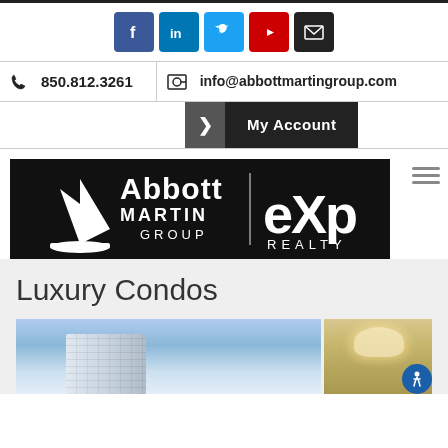[Figure (screenshot): Social media icon buttons: Facebook (blue), LinkedIn (blue), Twitter (light blue), YouTube (red), Email/mail (black)]
850.812.3261
info@abbottmartingroup.com
My Account
[Figure (logo): Abbott Martin Group | eXp Realty logo on black background]
Luxury Condos
[Figure (photo): Two real estate property photos: left shows a tall building against blue sky, right shows a luxury interior with chandelier]